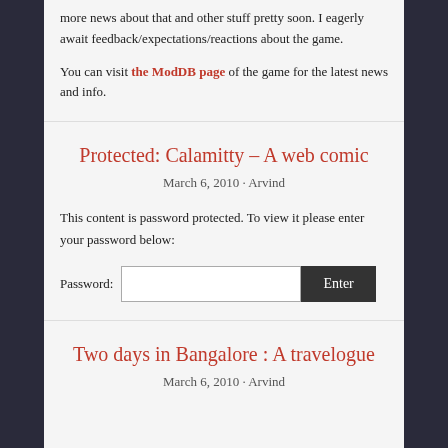more news about that and other stuff pretty soon. I eagerly await feedback/expectations/reactions about the game.
You can visit the ModDB page of the game for the latest news and info.
Protected: Calamitty – A web comic
March 6, 2010 · Arvind
This content is password protected. To view it please enter your password below:
Password: [input] Enter
Two days in Bangalore : A travelogue
March 6, 2010 · Arvind